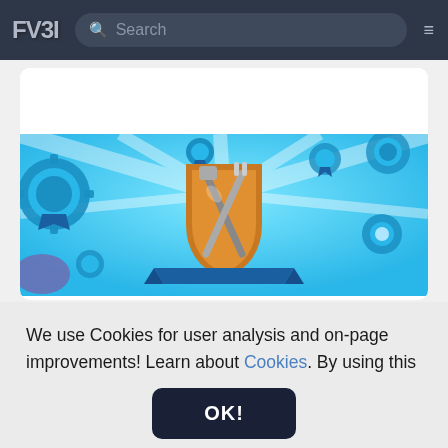FV31 — Search bar — Menu
[Figure (screenshot): Website banner for FV31 showing a game achievement shield with crossed tools (shovel and fork/pitchfork) on a bright blue background with decorative gear and badge icons]
We use Cookies for user analysis and on-page improvements! Learn about Cookies. By using this website, you have agreed with our Cookies policy.
OK!